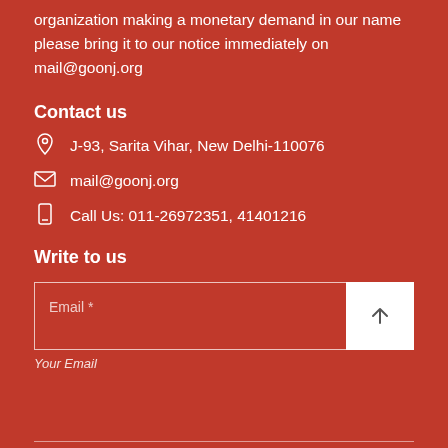organization making a monetary demand in our name please bring it to our notice immediately on mail@goonj.org
Contact us
J-93, Sarita Vihar, New Delhi-110076
mail@goonj.org
Call Us: 011-26972351, 41401216
Write to us
Email *
Your Email